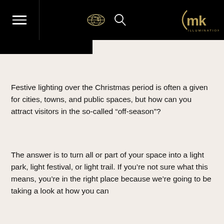mk illumination navigation header with hamburger menu, globe icon, search icon, and mk illumination logo
Festive lighting over the Christmas period is often a given for cities, towns, and public spaces, but how can you attract visitors in the so-called “off-season”?
The answer is to turn all or part of your space into a light park, light festival, or light trail. If you’re not sure what this means, you’re in the right place because we’re going to be taking a look at how you can